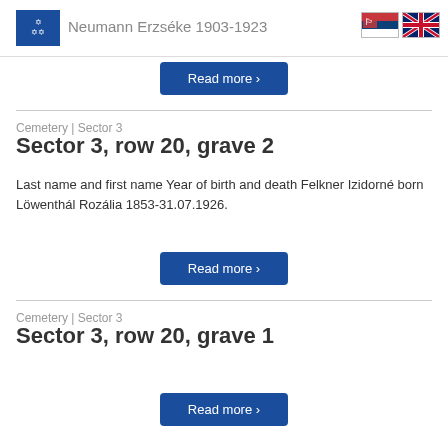Neumann Erzséke 1903-1923
Read more ›
Cemetery | Sector 3
Sector 3, row 20, grave 2
Last name and first name Year of birth and death Felkner Izidorné born Löwenthál Rozália 1853-31.07.1926.
Read more ›
Cemetery | Sector 3
Sector 3, row 20, grave 1
Read more ›